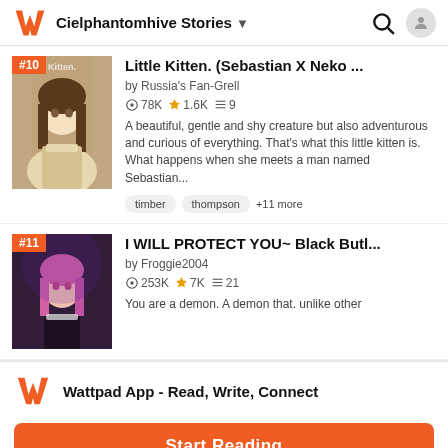Cielphantomhive Stories
#10 Little Kitten. (Sebastian X Neko ...
by Russia's Fan-Grell
78K 1.6K 9
A beautiful, gentle and shy creature but also adventurous and curious of everything. That's what this little kitten is. What happens when she meets a man named Sebastian...
timber  thompson  +11 more
#11 I WILL PROTECT YOU~ Black Butl...
by Froggie2004
253K 7K 21
You are a demon. A demon that. unlike other
Wattpad App - Read, Write, Connect
Start Reading
Log in with Browser